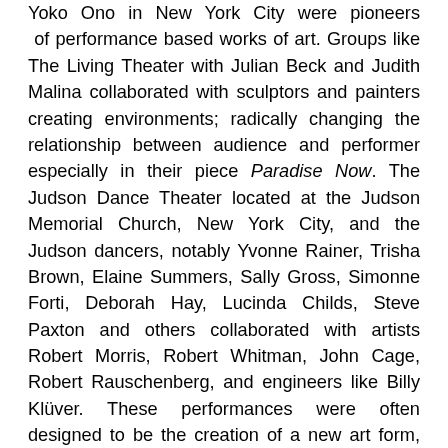Yoko Ono in New York City were pioneers of performance based works of art. Groups like The Living Theater with Julian Beck and Judith Malina collaborated with sculptors and painters creating environments; radically changing the relationship between audience and performer especially in their piece Paradise Now. The Judson Dance Theater located at the Judson Memorial Church, New York City, and the Judson dancers, notably Yvonne Rainer, Trisha Brown, Elaine Summers, Sally Gross, Simonne Forti, Deborah Hay, Lucinda Childs, Steve Paxton and others collaborated with artists Robert Morris, Robert Whitman, John Cage, Robert Rauschenberg, and engineers like Billy Klüver. These performances were often designed to be the creation of a new art form, combining sculpture, dance, and music or sound, often with audience participation. The works were characterized by the reductive philosophies of minimalism, and the spontaneous improvisation, and expressivity of abstract expressionism.
During the same period — the late 1950s through the mid-1960s various avant-garde artists created Happenings. Happenings were mysterious and often spontaneous and unscripted gatherings of artists and